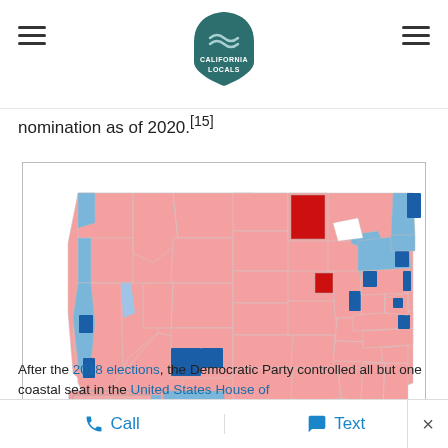California Locals (logo)
nomination as of 2020.[15]
[Figure (map): US congressional district map showing party control after 2018 elections. Red/salmon areas indicate Republican-held seats, blue areas indicate Democratic-held seats, dark blue indicates strongly Democratic coastal districts. The map shows most coastal areas in blue, especially California's coast, New England, and parts of the mid-Atlantic, while the interior is predominantly red/salmon.]
After the 2018 elections, the Democratic Party controlled all but one coastal seat in the United States House of